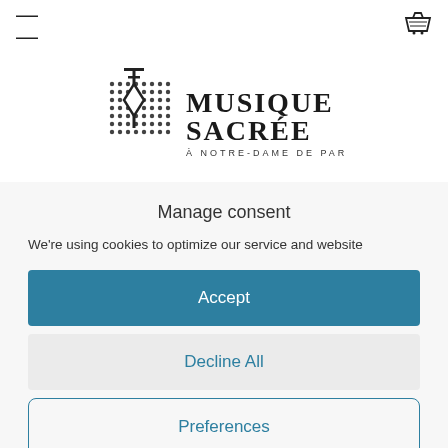[Figure (logo): Musique Sacrée à Notre-Dame de Paris logo with decorative dot grid and stylized key/cross emblem in black]
Manage consent
We're using cookies to optimize our service and website
Accept
Decline All
Preferences